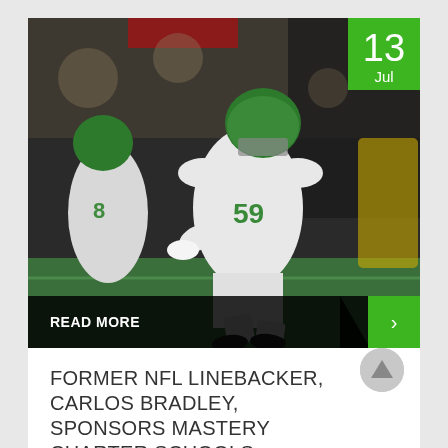[Figure (photo): Philadelphia Eagles NFL players in white uniforms with green helmets and the number 59 on the field during a game]
13 Jul
READ MORE
FORMER NFL LINEBACKER, CARLOS BRADLEY, SPONSORS MASTERY CHARTER SCHOOLS